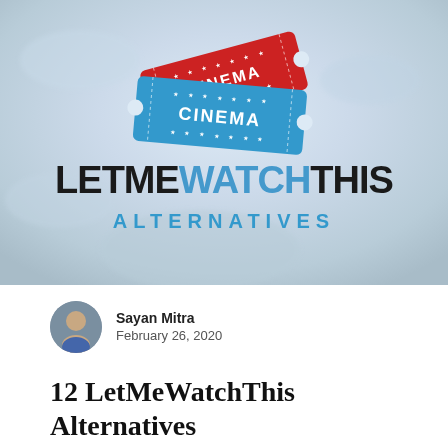[Figure (illustration): Hero image with icy/snowy background featuring two cinema ticket stubs (one red, one blue) at top center, and bold text 'LETMEWATCHTHIS' with 'ALTERNATIVES' below in blue on a light grey/blue icy background]
Sayan Mitra
February 26, 2020
12 LetMeWatchThis Alternatives